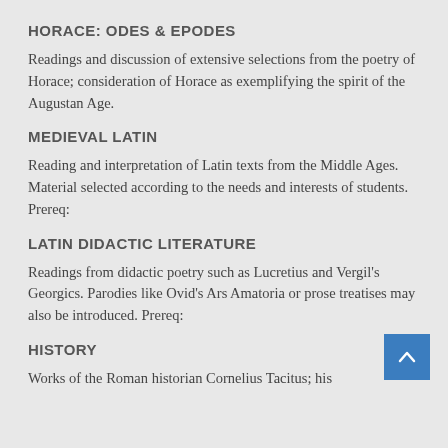HORACE: ODES & EPODES
Readings and discussion of extensive selections from the poetry of Horace; consideration of Horace as exemplifying the spirit of the Augustan Age.
MEDIEVAL LATIN
Reading and interpretation of Latin texts from the Middle Ages. Material selected according to the needs and interests of students. Prereq:
LATIN DIDACTIC LITERATURE
Readings from didactic poetry such as Lucretius and Vergil's Georgics. Parodies like Ovid's Ars Amatoria or prose treatises may also be introduced. Prereq:
HISTORY
Works of the Roman historian Cornelius Tacitus; his